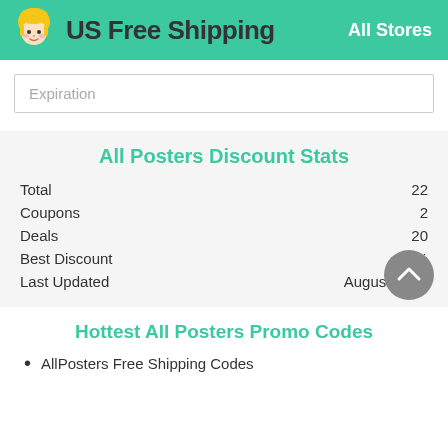US Free Shipping   All Stores
Expiration
All Posters Discount Stats
|  |  |
| --- | --- |
| Total | 22 |
| Coupons | 2 |
| Deals | 20 |
| Best Discount | 93% |
| Last Updated | August 2022 |
Hottest All Posters Promo Codes
AllPosters Free Shipping Codes